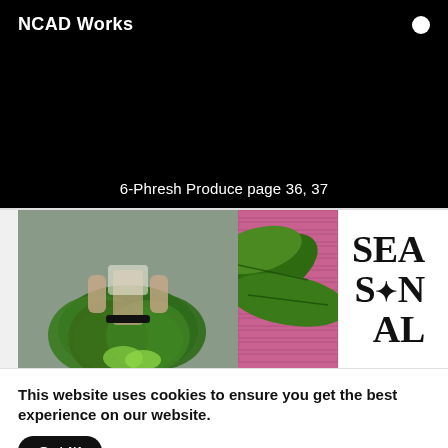NCAD Works
6-Phresh Produce page 36, 37
[Figure (photo): Two fashion/editorial photos side by side: left shows a person wearing a skirt made of large tropical leaves against a grey background; right shows large green tropical leaves against a pink brick wall, with 'SEASONAL' text in bold serif font on the right side.]
This website uses cookies to ensure you get the best experience on our website.
Got It!